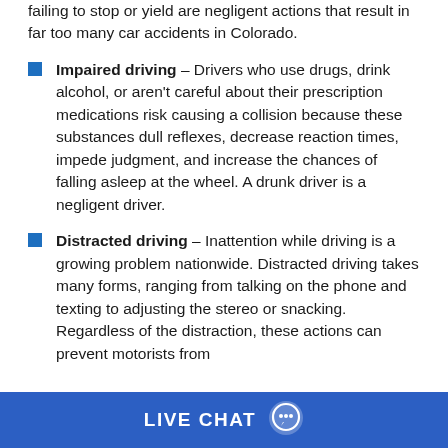failing to stop or yield are negligent actions that result in far too many car accidents in Colorado.
Impaired driving – Drivers who use drugs, drink alcohol, or aren't careful about their prescription medications risk causing a collision because these substances dull reflexes, decrease reaction times, impede judgment, and increase the chances of falling asleep at the wheel. A drunk driver is a negligent driver.
Distracted driving – Inattention while driving is a growing problem nationwide. Distracted driving takes many forms, ranging from talking on the phone and texting to adjusting the stereo or snacking. Regardless of the distraction, these actions can prevent motorists from
LIVE CHAT